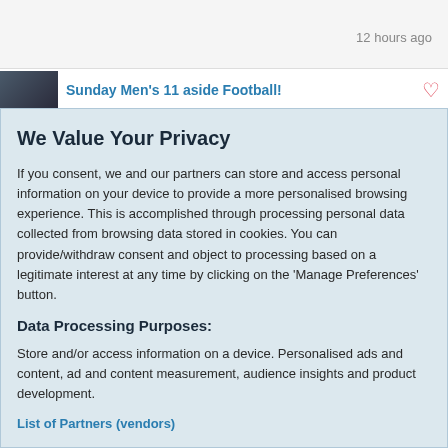12 hours ago
Sunday Men's 11 aside Football!
We Value Your Privacy
If you consent, we and our partners can store and access personal information on your device to provide a more personalised browsing experience. This is accomplished through processing personal data collected from browsing data stored in cookies. You can provide/withdraw consent and object to processing based on a legitimate interest at any time by clicking on the 'Manage Preferences' button.
Data Processing Purposes:
Store and/or access information on a device. Personalised ads and content, ad and content measurement, audience insights and product development.
List of Partners (vendors)
Accept
Manage your privacy settings